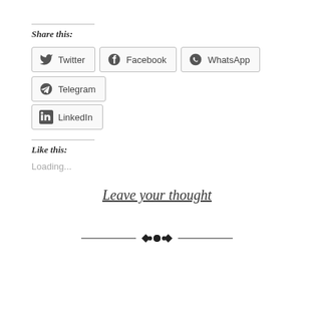Share this:
[Figure (other): Social share buttons: Twitter, Facebook, WhatsApp, Telegram, LinkedIn]
Like this:
Loading...
Leave your thought
[Figure (other): Decorative ornamental divider with diamond shapes in the center]